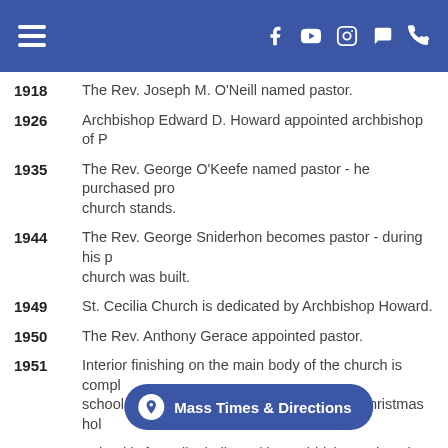Navigation header with hamburger menu and social icons
1918 — The Rev. Joseph M. O'Neill named pastor.
1926 — Archbishop Edward D. Howard appointed archbishop of P...
1935 — The Rev. George O'Keefe named pastor - he purchased pro... church stands.
1944 — The Rev. George Sniderhon becomes pastor - during his p... church was built.
1949 — St. Cecilia Church is dedicated by Archbishop Howard.
1950 — The Rev. Anthony Gerace appointed pastor.
1951 — Interior finishing on the main body of the church is compl... school is complete and classes begin after Christmas hol...
1952 — School is formally dedicated by Archbishop Edward D. Ho...
1953 — Construction of remainder of school is completed.
1954 — First Mass is said in St. Pius X Church in Cedar Mill.
1957 — Annex added to St. Cecilia Church. Fund-raiser for expans... plans call for convent, church in Aloha, and Cedar Hills an...
1959 — Open house is held in new St. Cecilia convent.
1960 — Budget appeal made... to...
1962 — Holy Trinity school building completed.